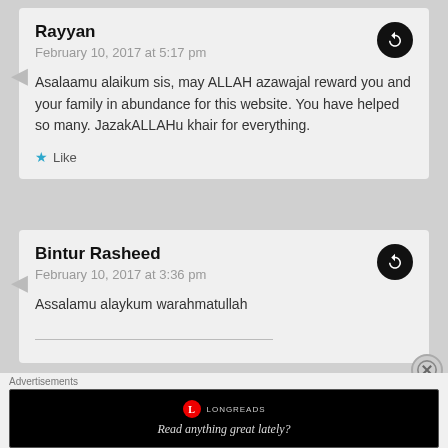Rayyan
February 10, 2017 at 5:17 pm
Asalaamu alaikum sis, may ALLAH azawajal reward you and your family in abundance for this website. You have helped so many. JazakALLAHu khair for everything.
Like
Bintur Rasheed
February 10, 2017 at 3:36 pm
Assalamu alaykum warahmatullah
Advertisements
LONGREADS
Read anything great lately?